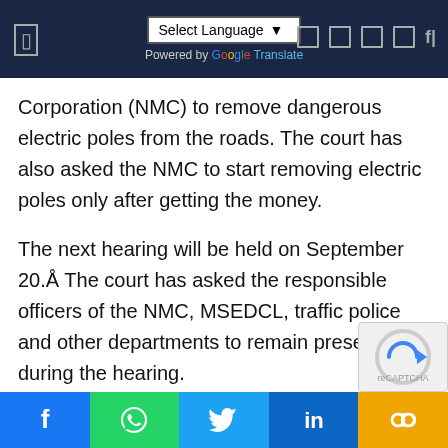Select Language — Powered by Google Translate
Corporation (NMC) to remove dangerous electric poles from the roads. The court has also asked the NMC to start removing electric poles only after getting the money.
The next hearing will be held on September 20.Å The court has asked the responsible officers of the NMC, MSEDCL, traffic police and other departments to remain present during the hearing.
The court has admitted a PIL taking suo motu cognizance. The matter was heard before the division bench of Justice Sunil Shukre and Justice Milind Jadhav. As per the information is given in the petition, there
Facebook | WhatsApp | Twitter | LinkedIn | Link